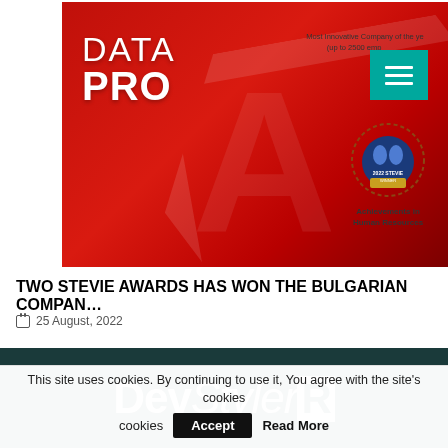[Figure (screenshot): Composite article card image showing DATA PRO logo on red background, a Stevie Award badge for Achievements in Human Resources, and a teal hamburger menu icon. Text reads 'Most Innovative Company of the year (up to 2500 employees)' and 'Achievements in Human Resources'.]
TWO STEVIE AWARDS HAS WON THE BULGARIAN COMPAN…
25 August, 2022
[Figure (logo): DevStyleR logo in white text on dark teal background]
This site uses cookies. By continuing to use it, You agree with the site's cookies
Accept
Read More